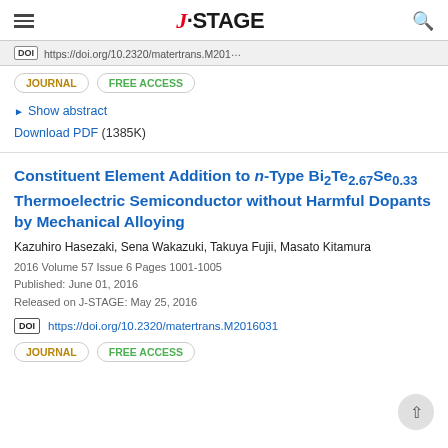J-STAGE
DOI https://doi.org/10.2320/matertrans.M2016031 (partial, truncated)
JOURNAL   FREE ACCESS
▶ Show abstract
Download PDF (1385K)
Constituent Element Addition to n-Type Bi2Te2.67Se0.33 Thermoelectric Semiconductor without Harmful Dopants by Mechanical Alloying
Kazuhiro Hasezaki, Sena Wakazuki, Takuya Fujii, Masato Kitamura
2016 Volume 57 Issue 6 Pages 1001-1005
Published: June 01, 2016
Released on J-STAGE: May 25, 2016
DOI https://doi.org/10.2320/matertrans.M2016031
JOURNAL   FREE ACCESS